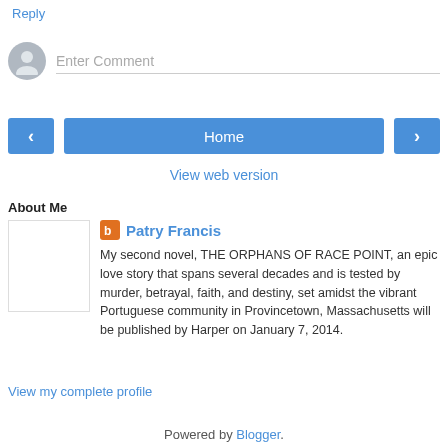Reply
[Figure (other): Comment input area with avatar circle and 'Enter Comment' placeholder text field]
[Figure (other): Navigation buttons: left arrow, Home, right arrow]
View web version
About Me
[Figure (other): Blogger profile with orange B icon, author name Patry Francis, bio text, and blank profile image box]
View my complete profile
Powered by Blogger.